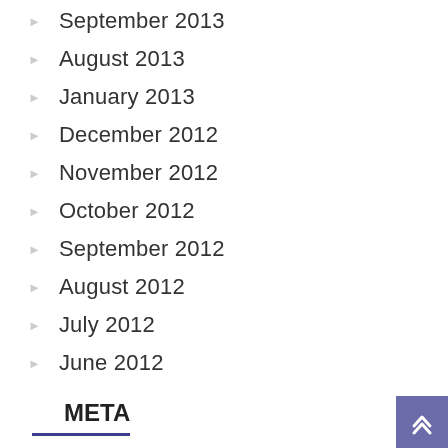September 2013
August 2013
January 2013
December 2012
November 2012
October 2012
September 2012
August 2012
July 2012
June 2012
META